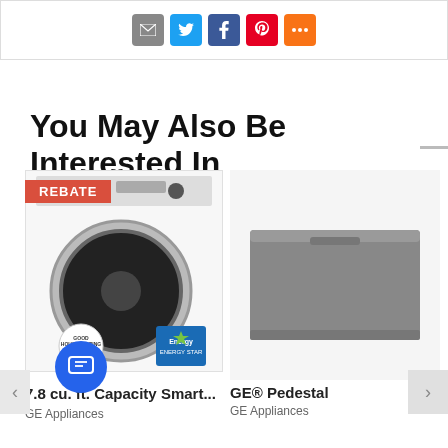[Figure (screenshot): Social share icons: email, Twitter, Facebook, Pinterest, more]
You May Also Be Interested In
[Figure (photo): Washing machine product image with REBATE badge, Good Housekeeping seal, and Energy Star label]
7.8 cu. ft. Capacity Smart...
GE Appliances
[Figure (photo): GE Pedestal product image in grey]
GE® Pedestal
GE Appliances